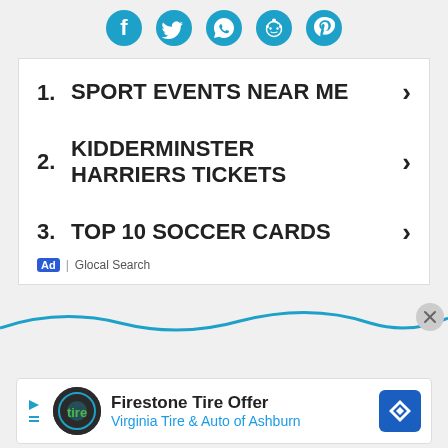[Figure (other): Social sharing icons: Facebook, Twitter, WhatsApp, Reddit, Pinterest in cyan/teal color]
1. SPORT EVENTS NEAR ME ›
2. KIDDERMINSTER HARRIERS TICKETS ›
3. TOP 10 SOCCER CARDS ›
Ad | Glocal Search
[Figure (other): Wave decoration and close button]
Firestone Tire Offer — Virginia Tire & Auto of Ashburn